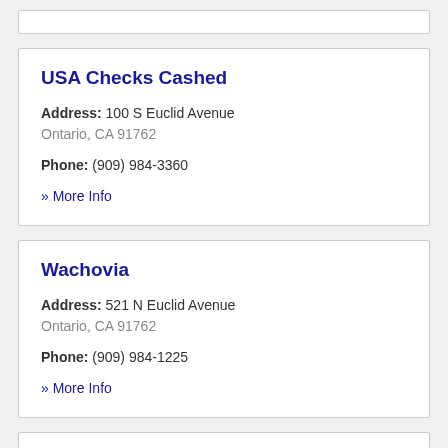USA Checks Cashed
Address: 100 S Euclid Avenue Ontario, CA 91762
Phone: (909) 984-3360
» More Info
Wachovia
Address: 521 N Euclid Avenue Ontario, CA 91762
Phone: (909) 984-1225
» More Info